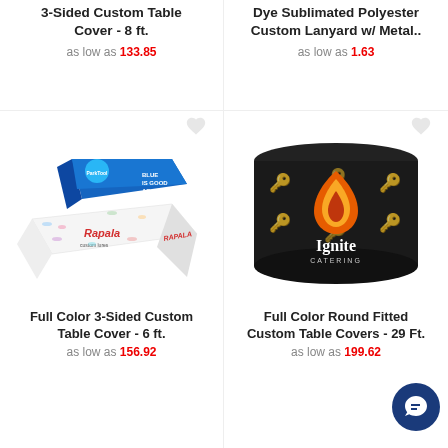3-Sided Custom Table Cover - 8 ft.
as low as 133.85
Dye Sublimated Polyester Custom Lanyard w/ Metal..
as low as 1.63
[Figure (photo): Full Color 3-Sided Custom Table Cover 6 ft - Rapala branded table covers stacked, blue Park Tool branded table cover above]
[Figure (photo): Full Color Round Fitted Custom Table Cover - Black round fitted cover with Ignite Catering logo (flame graphic)]
Full Color 3-Sided Custom Table Cover - 6 ft.
as low as 156.92
Full Color Round Fitted Custom Table Covers - 29 Ft.
as low as 199.62